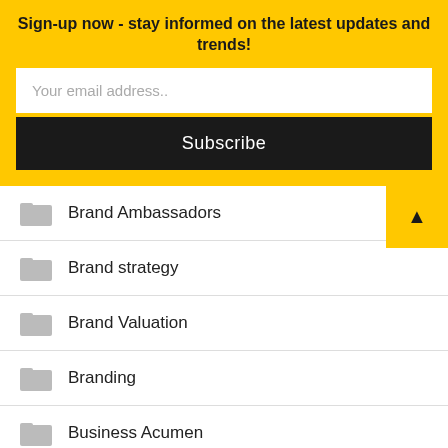Sign-up now - stay informed on the latest updates and trends!
Your email address..
Subscribe
Brand Ambassadors
Brand strategy
Brand Valuation
Branding
Business Acumen
Business Communication
Business Enabler